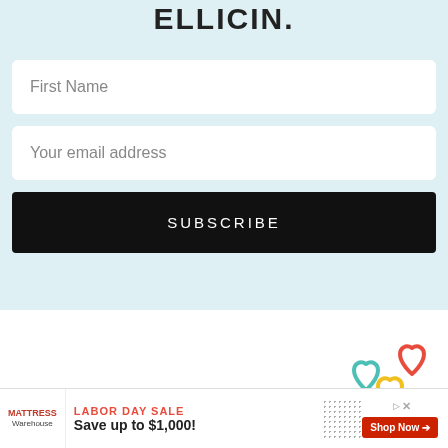ELLICIN
First Name
Your email address
SUBSCRIBE
[Figure (illustration): Three interlinked heart outlines in red, teal/green, and yellow colors]
[Figure (infographic): Advertisement banner: MATTRESS Warehouse - LABOR DAY SALE - Save up to $1,000! - Shop Now button]